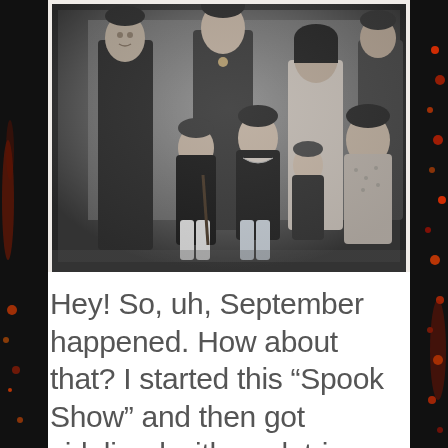[Figure (photo): Black and white vintage family portrait photograph showing a group of adults and children. Several adults standing in the back row and children seated in the front. Formal Victorian/Edwardian era clothing.]
Hey! So, uh, September happened. How about that? I started this “Spook Show” and then got sidelined with work trips